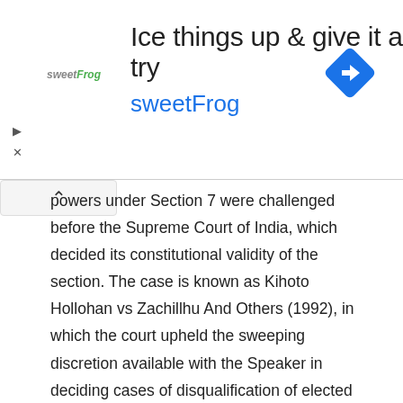[Figure (screenshot): Advertisement banner for sweetFrog frozen yogurt: 'Ice things up & give it a try' with sweetFrog logo and blue diamond navigation icon]
powers under Section 7 were challenged before the Supreme Court of India, which decided its constitutional validity of the section. The case is known as Kihoto Hollohan vs Zachillhu And Others (1992), in which the court upheld the sweeping discretion available with the Speaker in deciding cases of disqualification of elected representatives. However, orders of the Speaker became challengeable under Articles 32 and 226 of the Constitution. Unfortunately, the conduct and attitude of the Speaker have not changed. They behave in a partisan manner, as party workers of the political party to which they are attached. They give their verdict only in favour of the ruling party. Recently, in the case of Keisham Meghachandra Singh vs the